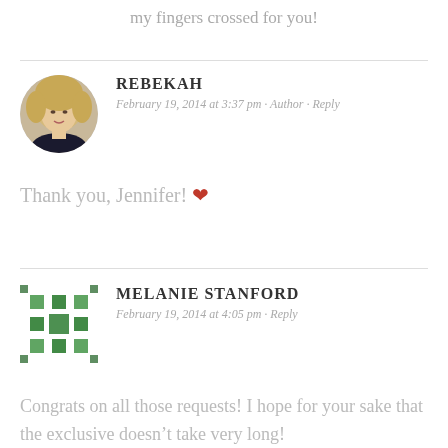my fingers crossed for you!
REBEKAH
February 19, 2014 at 3:37 pm · Author · Reply
Thank you, Jennifer! ❤
MELANIE STANFORD
February 19, 2014 at 4:05 pm · Reply
Congrats on all those requests! I hope for your sake that the exclusive doesn't take very long!